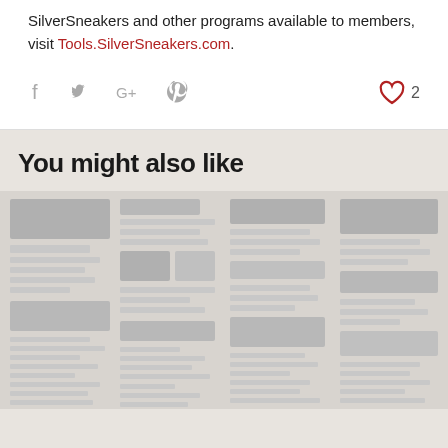SilverSneakers and other programs available to members, visit Tools.SilverSneakers.com.
[Figure (infographic): Social media sharing icons: Facebook, Twitter, Google+, Pinterest. A heart (like) icon with count 2 on the right.]
You might also like
[Figure (illustration): Placeholder newspaper/article thumbnail image made of grey rectangular blocks resembling newspaper columns and headlines.]